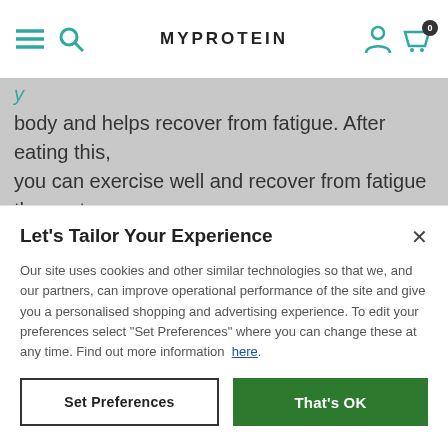MYPROTEIN
body and helps recover from fatigue. After eating this, you can exercise well and recover from fatigue the next d... O... h...
Welcome
It looks like you are in the USA, would you like to
Let's Tailor Your Experience
Our site uses cookies and other similar technologies so that we, and our partners, can improve operational performance of the site and give you a personalised shopping and advertising experience. To edit your preferences select "Set Preferences" where you can change these at any time. Find out more information here.
Set Preferences
That's OK